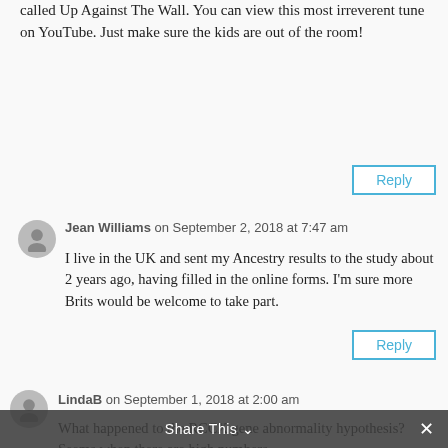called Up Against The Wall. You can view this most irreverent tune on YouTube. Just make sure the kids are out of the room!
Reply
Jean Williams on September 2, 2018 at 7:47 am
I live in the UK and sent my Ancestry results to the study about 2 years ago, having filled in the online forms. I'm sure more Brits would be welcome to take part.
Reply
LindaB on September 1, 2018 at 2:00 am
What happened to the RCCX gene abnormality hypothesis? Seems when there are high numbers
Share This